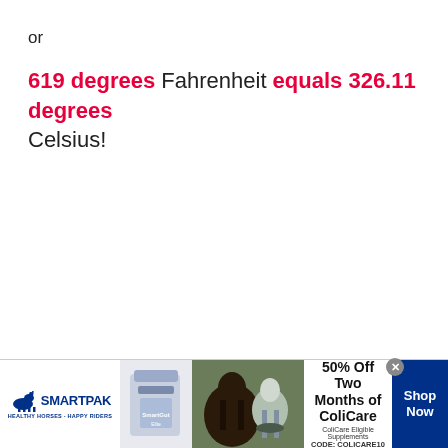or
619 degrees Fahrenheit equals 326.11 degrees Celsius!
[Figure (illustration): SmartPak advertisement banner: SmartPak logo on left, product image, horse and rider photo, '50% Off Two Months of ColiCare, ColiCare Eligible Supplements, CODE: COLICARE10' text in center, and 'Shop Now' blue button on right.]